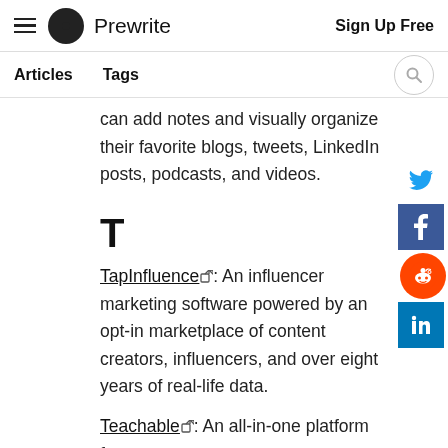Prewrite — Sign Up Free
Articles   Tags
can add notes and visually organize their favorite blogs, tweets, LinkedIn posts, podcasts, and videos.
T
TapInfluence: An influencer marketing software powered by an opt-in marketplace of content creators, influencers, and over eight years of real-life data.
Teachable: An all-in-one platform for